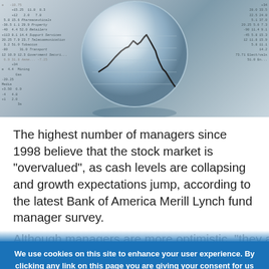[Figure (photo): A crystal/glass globe sitting on top of financial newspaper/report pages showing stock market data and figures, with a declining stock chart line visible inside the globe.]
The highest number of managers since 1998 believe that the stock market is "overvalued", as cash levels are collapsing and growth expectations jump, according to the latest Bank of America Merill Lynch fund manager survey.
Although managers are more optimistic, "they are actually...
We use cookies on this site to enhance your user experience. By clicking any link on this page you are giving your consent for us to set cookies.
OK, I agree
Give me more info